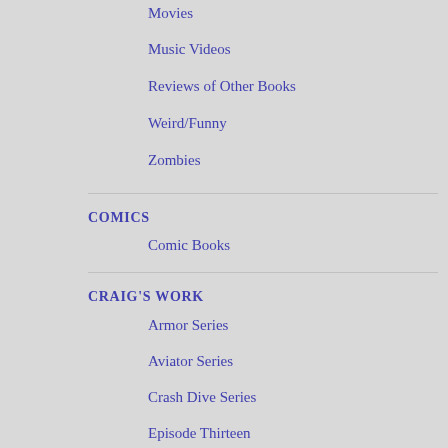Movies
Music Videos
Reviews of Other Books
Weird/Funny
Zombies
COMICS
Comic Books
CRAIG'S WORK
Armor Series
Aviator Series
Crash Dive Series
Episode Thirteen
One of Us
Our War
Strike
Suffer the Children